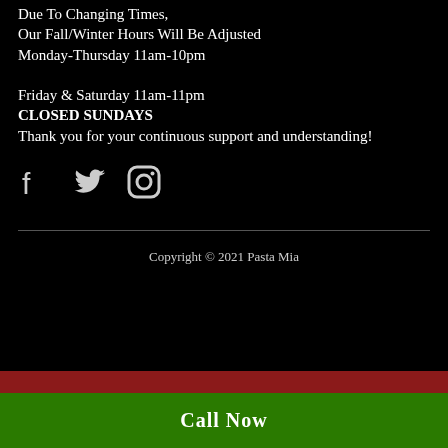Due To Changing Times,
Our Fall/Winter Hours Will Be Adjusted
Monday-Thursday 11am-10pm

Friday & Saturday 11am-11pm
CLOSED SUNDAYS
Thank you for your continuous support and understanding!
[Figure (illustration): Social media icons: Facebook, Twitter, Instagram]
Copyright © 2021 Pasta Mia
Call Now